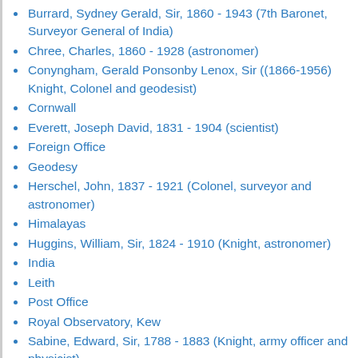Burrard, Sydney Gerald, Sir, 1860 - 1943 (7th Baronet, Surveyor General of India)
Chree, Charles, 1860 - 1928 (astronomer)
Conyngham, Gerald Ponsonby Lenox, Sir ((1866-1956) Knight, Colonel and geodesist)
Cornwall
Everett, Joseph David, 1831 - 1904 (scientist)
Foreign Office
Geodesy
Herschel, John, 1837 - 1921 (Colonel, surveyor and astronomer)
Himalayas
Huggins, William, Sir, 1824 - 1910 (Knight, astronomer)
India
Leith
Post Office
Royal Observatory, Kew
Sabine, Edward, Sir, 1788 - 1883 (Knight, army officer and physicist)
Stokes, George Gabriel, Sir, 1819 - 1903 (1st Baronet, physicist)